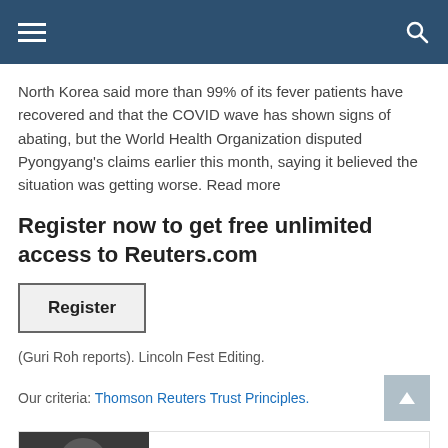Navigation bar with menu and search icons
North Korea said more than 99% of its fever patients have recovered and that the COVID wave has shown signs of abating, but the World Health Organization disputed Pyongyang's claims earlier this month, saying it believed the situation was getting worse. Read more
Register now to get free unlimited access to Reuters.com
Register
(Guri Roh reports). Lincoln Fest Editing.
Our criteria: Thomson Reuters Trust Principles.
[Figure (photo): Author photo portrait of a bald person wearing sunglasses]